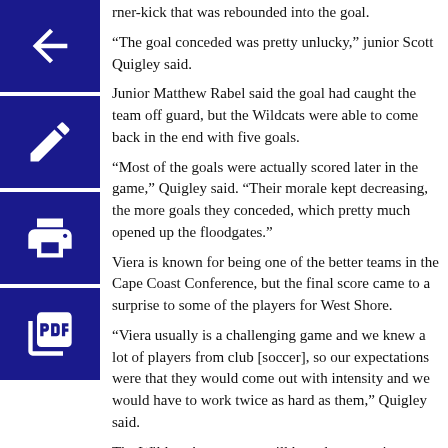rner-kick that was rebounded into the goal.
“The goal conceded was pretty unlucky,” junior Scott Quigley said.
Junior Matthew Rabel said the goal had caught the team off guard, but the Wildcats were able to come back in the end with five goals.
“Most of the goals were actually scored later in the game,” Quigley said. “Their morale kept decreasing, the more goals they conceded, which pretty much opened up the floodgates.”
Viera is known for being one of the better teams in the Cape Coast Conference, but the final score came to a surprise to some of the players for West Shore.
“Viera usually is a challenging game and we knew a lot of players from club [soccer], so our expectations were that they would come out with intensity and we would have to work twice as hard as them,” Quigley said.
The Wildcats’ next game will be at home against Bayside on Thursday at 7 p.m.
By Tyanna Tizol